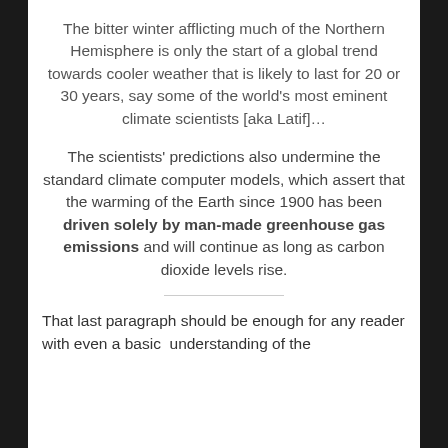The bitter winter afflicting much of the Northern Hemisphere is only the start of a global trend towards cooler weather that is likely to last for 20 or 30 years, say some of the world's most eminent climate scientists [aka Latif]…
The scientists' predictions also undermine the standard climate computer models, which assert that the warming of the Earth since 1900 has been driven solely by man-made greenhouse gas emissions and will continue as long as carbon dioxide levels rise.
That last paragraph should be enough for any reader with even a basic  understanding of the